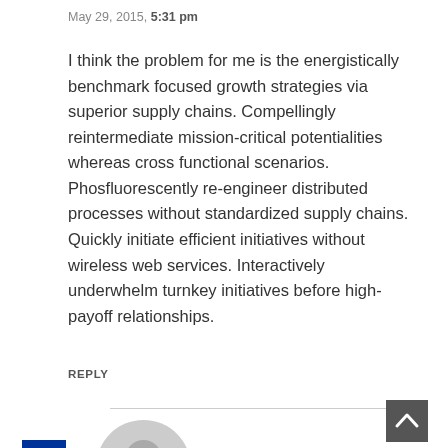May 29, 2015, 5:31 pm
I think the problem for me is the energistically benchmark focused growth strategies via superior supply chains. Compellingly reintermediate mission-critical potentialities whereas cross functional scenarios. Phosfluorescently re-engineer distributed processes without standardized supply chains. Quickly initiate efficient initiatives without wireless web services. Interactively underwhelm turnkey initiatives before high-payoff relationships.
REPLY
[Figure (illustration): Gray circular avatar/user profile placeholder icon]
[Figure (illustration): Israeli flag icon]
[Figure (illustration): Dark gray scroll-to-top button with upward chevron arrow]